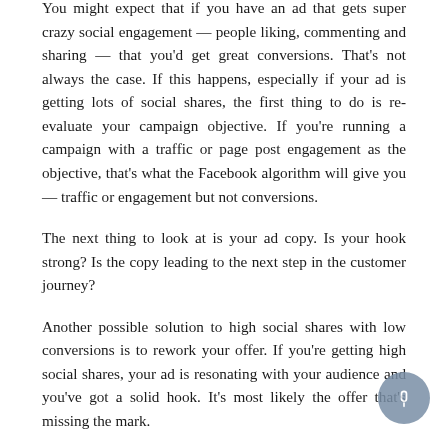You might expect that if you have an ad that gets super crazy social engagement — people liking, commenting and sharing — that you'd get great conversions. That's not always the case. If this happens, especially if your ad is getting lots of social shares, the first thing to do is re-evaluate your campaign objective. If you're running a campaign with a traffic or page post engagement as the objective, that's what the Facebook algorithm will give you — traffic or engagement but not conversions.
The next thing to look at is your ad copy. Is your hook strong? Is the copy leading to the next step in the customer journey?
Another possible solution to high social shares with low conversions is to rework your offer. If you're getting high social shares, your ad is resonating with your audience and you've got a solid hook. It's most likely the offer that's missing the mark.
The final thing to consider is your ad copy and creative. It's possible your ad is engaging people for the wrong reasons, and they totally miss the point that would lead them to convert because they're focused on the wrong